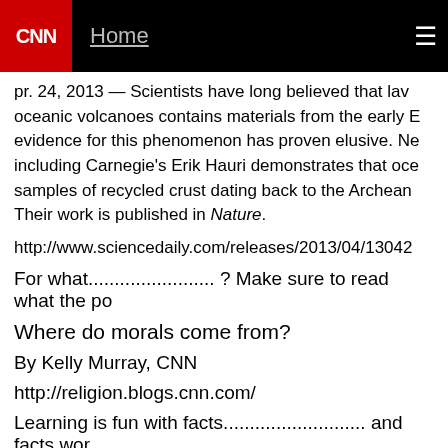CNN | Home
pr. 24, 2013 — Scientists have long believed that lava from oceanic volcanoes contains materials from the early E... evidence for this phenomenon has proven elusive. Ne... including Carnegie's Erik Hauri demonstrates that oce... samples of recycled crust dating back to the Archean... Their work is published in Nature.
http://www.sciencedaily.com/releases/2013/04/13042...
For what........................ ? Make sure to read what the po...
Where do morals come from?
By Kelly Murray, CNN
http://religion.blogs.cnn.com/
Learning is fun with facts.......................... and facts wor...
Atheist Prof. Peter Higgs: Stop calling Higgs boson th...